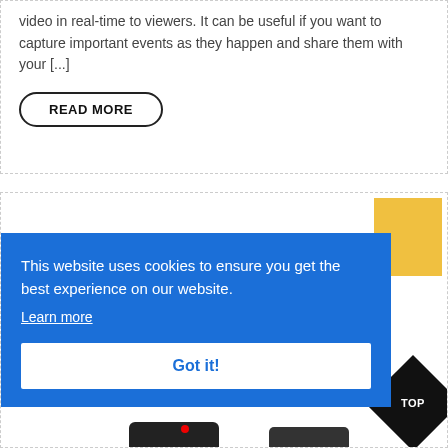video in real-time to viewers. It can be useful if you want to capture important events as they happen and share them with your [...]
READ MORE
[Figure (screenshot): Cookie consent banner overlay on a website page. Blue banner with text 'This website uses cookies to ensure you get the best experience on our website.' with a 'Learn more' underlined link and a white 'Got it!' button. In the background, a yellow box and a black diamond-shaped 'TOP' navigation button are partially visible. At the bottom, a camera device is partially visible.]